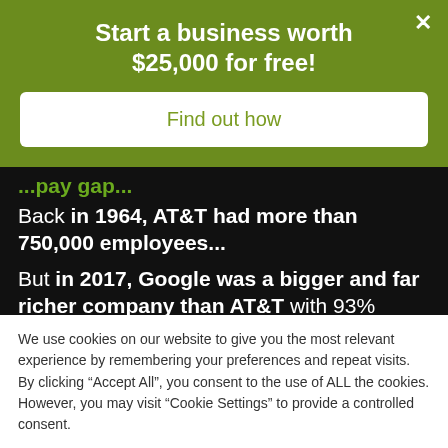Start a business worth $25,000 for free!
Find out how
Back in 1964, AT&T had more than 750,000 employees...
But in 2017, Google was a bigger and far richer company than AT&T with 93% fewer
We use cookies on our website to give you the most relevant experience by remembering your preferences and repeat visits. By clicking “Accept All”, you consent to the use of ALL the cookies. However, you may visit “Cookie Settings” to provide a controlled consent.
Cookie Settings
Accept All